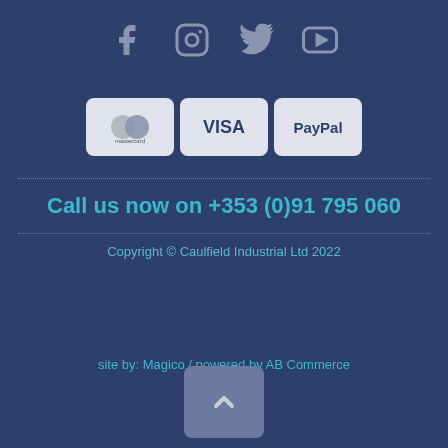[Figure (logo): Social media icons: Facebook, Instagram, Twitter, YouTube in grey on dark blue background]
[Figure (logo): Payment method icons: Mastercard, VISA, PayPal on light grey rounded rectangles]
Call us now on +353 (0)91 795 060
Copyright © Caulfield Industrial Ltd 2022
site by: Magico / powered by AB Commerce